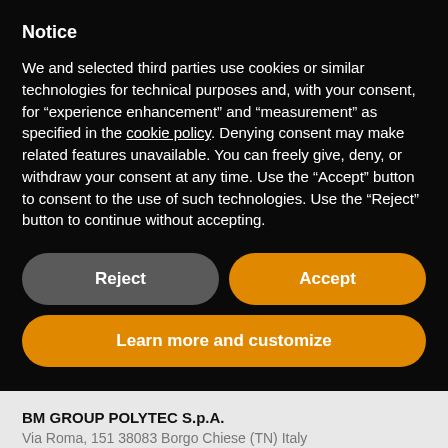Notice
We and selected third parties use cookies or similar technologies for technical purposes and, with your consent, for “experience enhancement” and “measurement” as specified in the cookie policy. Denying consent may make related features unavailable. You can freely give, deny, or withdraw your consent at any time. Use the “Accept” button to consent to the use of such technologies. Use the “Reject” button to continue without accepting.
Reject
Accept
Learn more and customize
BM GROUP POLYTEC S.p.A.
Via Roma, 151 38083 Borgo Chiese (TN) Italy
T. +39 0465 621794
Fax +39 0465 621202
VAT. IT 04015060165